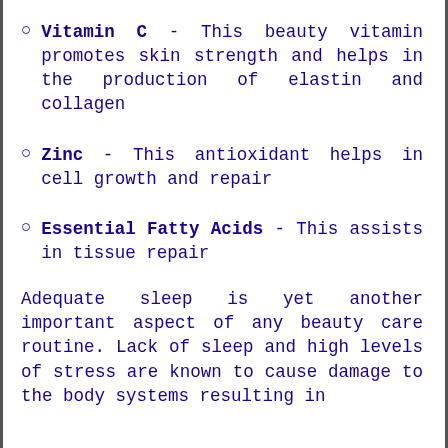Vitamin C - This beauty vitamin promotes skin strength and helps in the production of elastin and collagen
Zinc - This antioxidant helps in cell growth and repair
Essential Fatty Acids - This assists in tissue repair
Adequate sleep is yet another important aspect of any beauty care routine. Lack of sleep and high levels of stress are known to cause damage to the body systems resulting in...